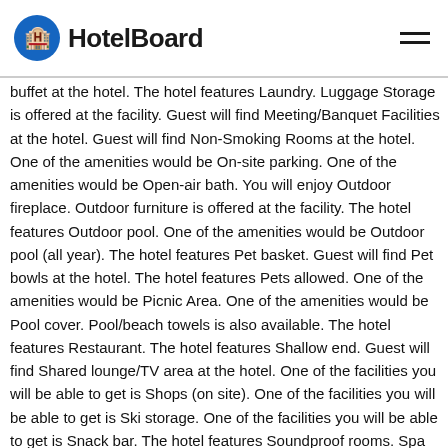HotelBoard
buffet at the hotel. The hotel features Laundry. Luggage Storage is offered at the facility. Guest will find Meeting/Banquet Facilities at the hotel. Guest will find Non-Smoking Rooms at the hotel. One of the amenities would be On-site parking. One of the amenities would be Open-air bath. You will enjoy Outdoor fireplace. Outdoor furniture is offered at the facility. The hotel features Outdoor pool. One of the amenities would be Outdoor pool (all year). The hotel features Pet basket. Guest will find Pet bowls at the hotel. The hotel features Pets allowed. One of the amenities would be Picnic Area. One of the amenities would be Pool cover. Pool/beach towels is also available. The hotel features Restaurant. The hotel features Shallow end. Guest will find Shared lounge/TV area at the hotel. One of the facilities you will be able to get is Shops (on site). One of the facilities you will be able to get is Ski storage. One of the facilities you will be able to get is Snack bar. The hotel features Soundproof rooms. Spa and wellness centre is also available. Guest will find Sun umbrellas at the hotel. One of the facilities you will be able to get is Table tennis. Tennis Court is offered at the facility. You will enjoy Terrace. One of the facilities you will be able to get is Ticket service. One of the amenities would be Tickets to attractions or shows. One of the amenities would be Vending machine (drinks). You